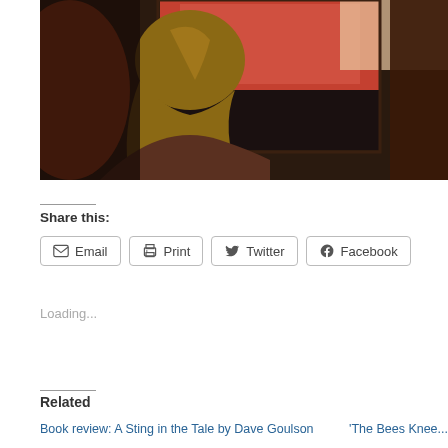[Figure (photo): A person with long blonde hair seen from behind, looking at a large screen or monitor displaying a reddish toned image, in a dimly lit room.]
Share this:
Email  Print  Twitter  Facebook
Loading...
Related
Book review: A Sting in the Tale by Dave Goulson
'The Bees Knee...